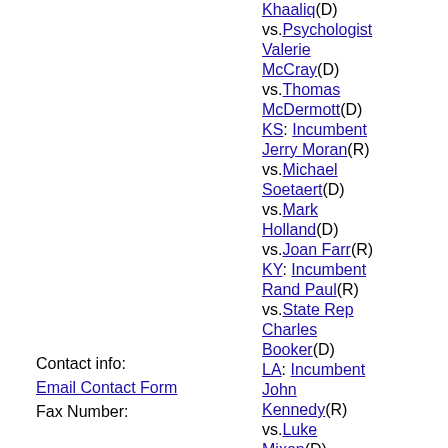Khaaliq(D) vs.Psychologist Valerie McCray(D) vs.Thomas McDermott(D)
KS: Incumbent Jerry Moran(R) vs.Michael Soetaert(D) vs.Mark Holland(D) vs.Joan Farr(R)
KY: Incumbent Rand Paul(R) vs.State Rep Charles Booker(D)
LA: Incumbent John Kennedy(R) vs.Luke Mixon(D) vs.Gary Chambers(D)
Contact info:
Email Contact Form
Fax Number: